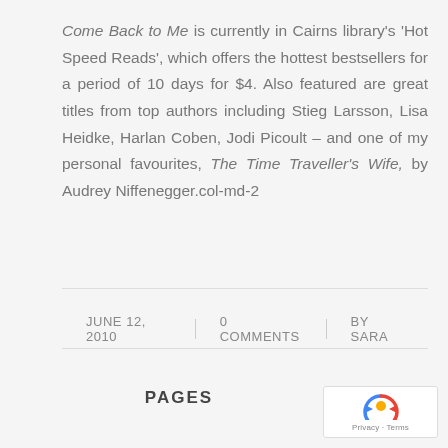Come Back to Me is currently in Cairns library's 'Hot Speed Reads', which offers the hottest bestsellers for a period of 10 days for $4. Also featured are great titles from top authors including Stieg Larsson, Lisa Heidke, Harlan Coben, Jodi Picoult – and one of my personal favourites, The Time Traveller's Wife, by Audrey Niffenegger.col-md-2
JUNE 12, 2010 | 0 COMMENTS | BY SARA
PAGES